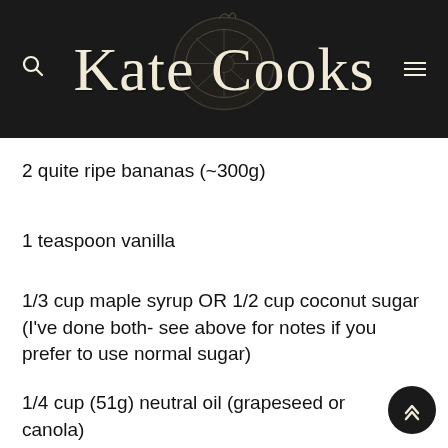Kate Cooks
2 quite ripe bananas (~300g)
1 teaspoon vanilla
1/3 cup maple syrup OR 1/2 cup coconut sugar (I've done both- see above for notes if you prefer to use normal sugar)
1/4 cup (51g) neutral oil (grapeseed or canola)